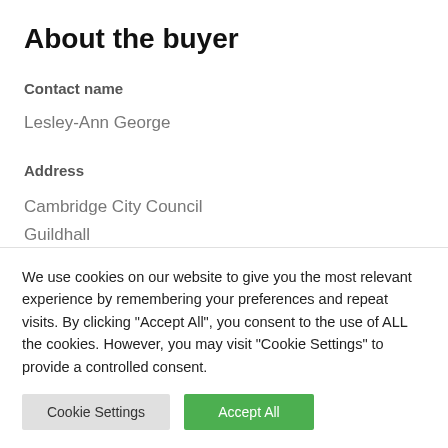About the buyer
Contact name
Lesley-Ann George
Address
Cambridge City Council
Guildhall
Cambridge
We use cookies on our website to give you the most relevant experience by remembering your preferences and repeat visits. By clicking "Accept All", you consent to the use of ALL the cookies. However, you may visit "Cookie Settings" to provide a controlled consent.